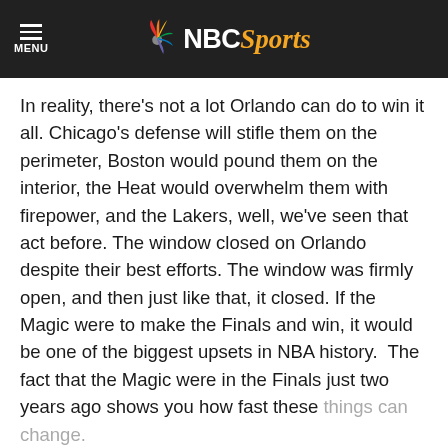NBC Sports
In reality, there's not a lot Orlando can do to win it all. Chicago's defense will stifle them on the perimeter, Boston would pound them on the interior, the Heat would overwhelm them with firepower, and the Lakers, well, we've seen that act before. The window closed on Orlando despite their best efforts. The window was firmly open, and then just like that, it closed. If the Magic were to make the Finals and win, it would be one of the biggest upsets in NBA history.  The fact that the Magic were in the Finals just two years ago shows you how fast these things can change.
Read More
View 2 Comments